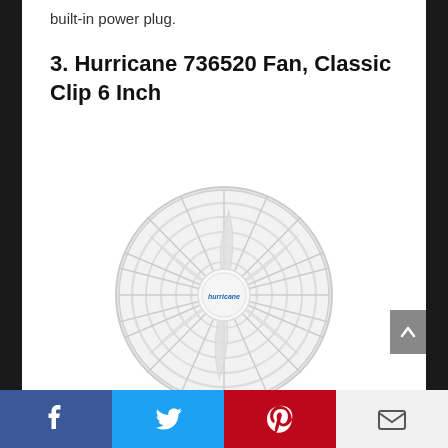built-in power plug.
3. Hurricane 736520 Fan, Classic Clip 6 Inch
[Figure (photo): White Hurricane Classic Clip 6 Inch fan with circular grille, fan blades visible, blue Hurricane logo on center hub, and a handle/clip extending from the bottom]
Social share bar: Facebook, Twitter, Pinterest, Email